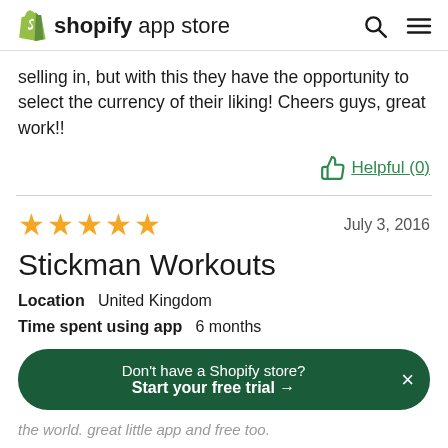shopify app store
selling in, but with this they have the opportunity to select the currency of their liking! Cheers guys, great work!!
Helpful (0)
★★★★★  July 3, 2016
Stickman Workouts
Location  United Kingdom
Time spent using app  6 months
Don't have a Shopify store? Start your free trial →
the world. great little app and free too.